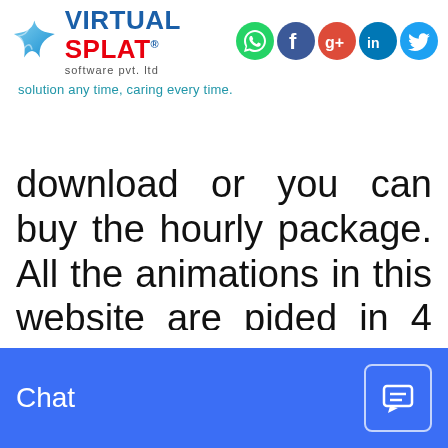[Figure (logo): Virtual Splat software pvt. ltd logo with blue star icon and social media icons (WhatsApp, Facebook, Google+, LinkedIn, Twitter)]
solution any time, caring every time.
download or you can buy the hourly package. All the animations in this website are pided in 4 subjects Chemistry, Biology, Physics and Body System for better search results. There are many sub directories as well for better
Chat